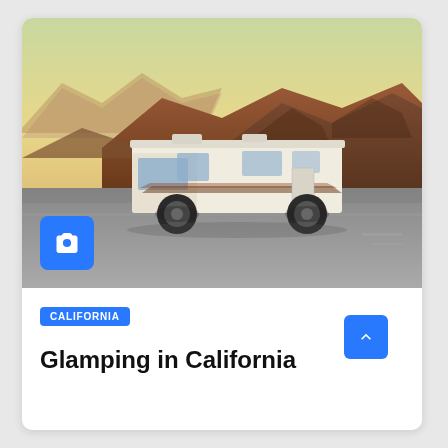[Figure (photo): An RV/motorhome parked on a road with rugged desert mountains in the background under a golden-hour sky. A blue camera icon badge is overlaid in the lower-left corner of the photo.]
CALIFORNIA
Glamping in California